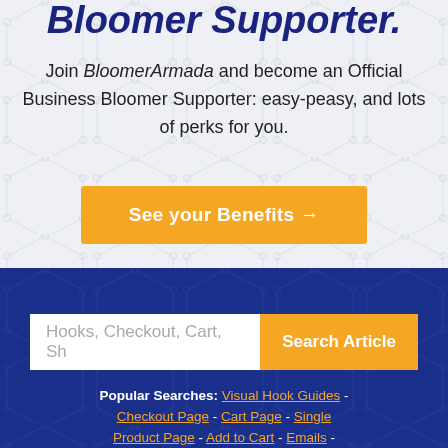Bloomer Supporter.
Join BloomerArmada and become an Official Business Bloomer Supporter: easy-peasy, and lots of perks for you.
See your Benefits →
Hooks, Checkout, Cart, Sh
Search Article
Popular Searches: Visual Hook Guides - Checkout Page - Cart Page - Single Product Page - Add to Cart - Emails -